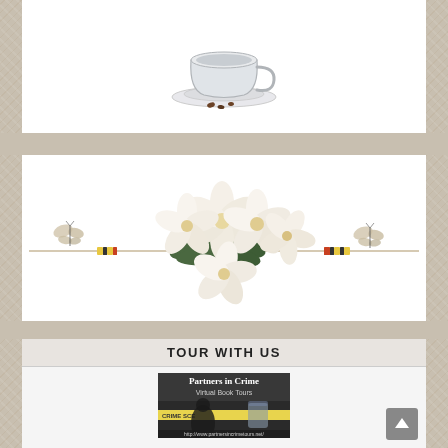[Figure (illustration): A teacup and saucer with coffee beans, centered at top of page]
[Figure (illustration): White floral bouquet (magnolias) with decorative horizontal divider featuring butterflies and striped accents]
TOUR WITH US
[Figure (photo): Partners in Crime Virtual Book Tours promotional badge showing a person at a crime scene with yellow crime tape]
www.Partnersincrimetours.net
EMail: Cheryl@partnersincrimetours.net